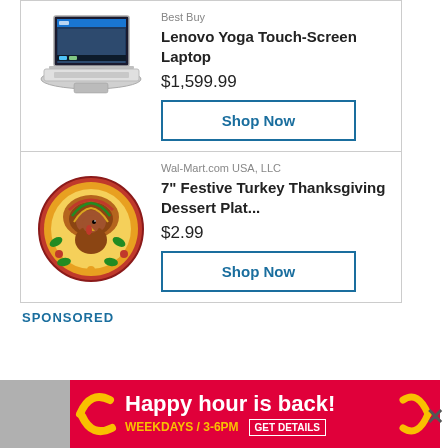[Figure (photo): Lenovo Yoga Touch-Screen Laptop product image]
Best Buy
Lenovo Yoga Touch-Screen Laptop
$1,599.99
Shop Now
[Figure (photo): 7 inch Festive Turkey Thanksgiving Dessert Plate, round plate with turkey design]
Wal-Mart.com USA, LLC
7" Festive Turkey Thanksgiving Dessert Plat...
$2.99
Shop Now
SPONSORED
The Spokesman-Review
[Figure (infographic): Happy hour is back! WEEKDAYS / 3-6PM GET DETAILS advertisement banner in red and gold]